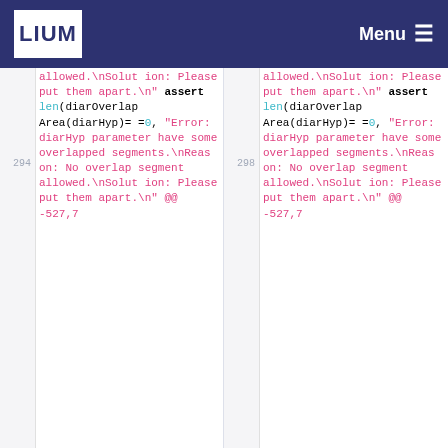LIUM Menu
allowed.\nSolution: Please put them apart.\n"
294     assert len(diarOverlapArea(diarHyp)==0, "Error: diarHyp parameter have some overlapped segments.\nReason: No overlap segment allowed.\nSolution: Please put them apart.\n"
@@ -527,7
allowed.\nSolution: Please put them apart.\n"
298     assert len(diarOverlapArea(diarHyp)==0, "Error: diarHyp parameter have some overlapped segments.\nReason: No overlap segment allowed.\nSolution: Please put them apart.\n"
@@ -527,7